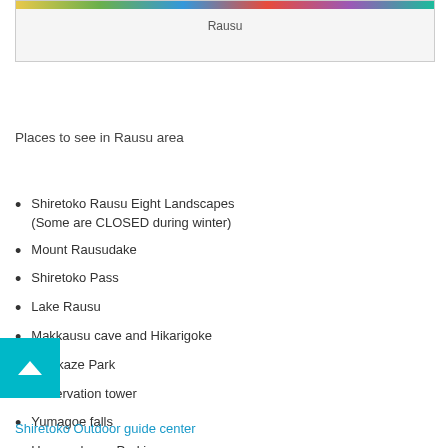[Figure (photo): Colorful image strip at the top, showing a map or photo of Rausu area with label 'Rausu' below]
Rausu
Places to see in Rausu area
Shiretoko Rausu Eight Landscapes (Some are CLOSED during winter)
Mount Rausudake
Shiretoko Pass
Lake Rausu
Makkausu cave and Hikarigoke
Shiokaze Park
Observation tower
Yumagoe falls
Hamanehama Parking
Shiretoko Outdoor guide center